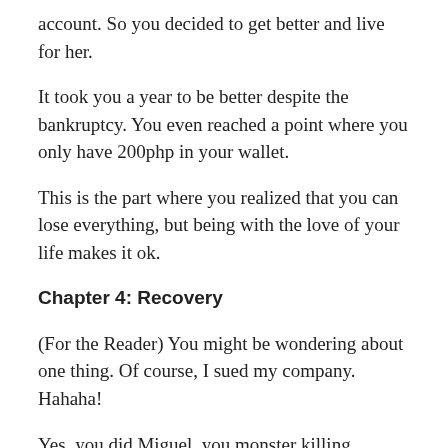account. So you decided to get better and live for her.
It took you a year to be better despite the bankruptcy. You even reached a point where you only have 200php in your wallet.
This is the part where you realized that you can lose everything, but being with the love of your life makes it ok.
Chapter 4: Recovery
(For the Reader) You might be wondering about one thing. Of course, I sued my company. Hahaha!
Yes, you did Miguel, you monster killing machine! While suffering from a deadly ordeal, you spent your time waiting for your counterattack to bear fruit.